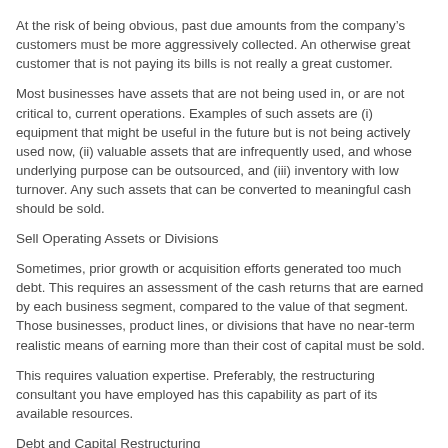At the risk of being obvious, past due amounts from the company's customers must be more aggressively collected. An otherwise great customer that is not paying its bills is not really a great customer.
Most businesses have assets that are not being used in, or are not critical to, current operations. Examples of such assets are (i) equipment that might be useful in the future but is not being actively used now, (ii) valuable assets that are infrequently used, and whose underlying purpose can be outsourced, and (iii) inventory with low turnover. Any such assets that can be converted to meaningful cash should be sold.
Sell Operating Assets or Divisions
Sometimes, prior growth or acquisition efforts generated too much debt. This requires an assessment of the cash returns that are earned by each business segment, compared to the value of that segment. Those businesses, product lines, or divisions that have no near-term realistic means of earning more than their cost of capital must be sold.
This requires valuation expertise. Preferably, the restructuring consultant you have employed has this capability as part of its available resources.
Debt and Capital Restructuring